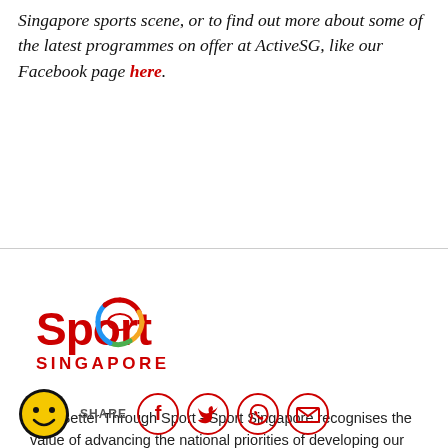Singapore sports scene, or to find out more about some of the latest programmes on offer at ActiveSG, like our Facebook page here.
[Figure (logo): Sport Singapore logo — red text 'Sport' with colourful swoosh around the 'o', and 'SINGAPORE' in red capitals below]
Live Better Through Sport - Sport Singapore recognises the value of advancing the national priorities of developing our people
SHARE [Facebook] [Twitter] [WhatsApp] [Email]